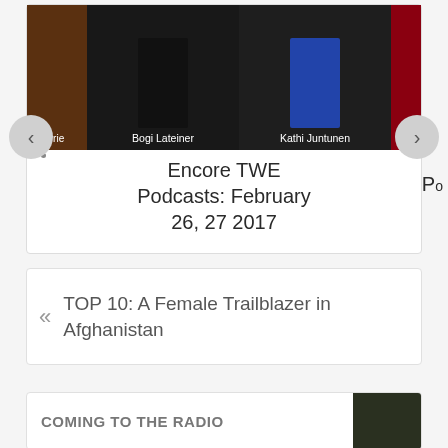[Figure (screenshot): Carousel card showing podcast episode with photos of Bogi Lateiner and Kathi Juntunen, partially visible left and right cards, with navigation arrows]
Encore TWE Podcasts: February 26, 27 2017
« TOP 10: A Female Trailblazer in Afghanistan
COMING TO THE RADIO